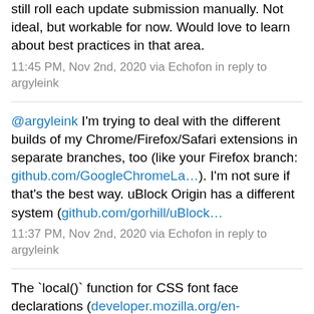still roll each update submission manually. Not ideal, but workable for now. Would love to learn about best practices in that area.
11:45 PM, Nov 2nd, 2020 via Echofon in reply to argyleink
@argyleink I'm trying to deal with the different builds of my Chrome/Firefox/Safari extensions in separate branches, too (like your Firefox branch: github.com/GoogleChromeLa…). I'm not sure if that's the best way. uBlock Origin has a different system (github.com/gorhill/uBlock…
11:37 PM, Nov 2nd, 2020 via Echofon in reply to argyleink
The `local()` function for CSS font face declarations (developer.mozilla.org/en-US/docs/Web…) will soon be disabled ↩. For actual local fonts access, consider giving the Local Font Access API a try: